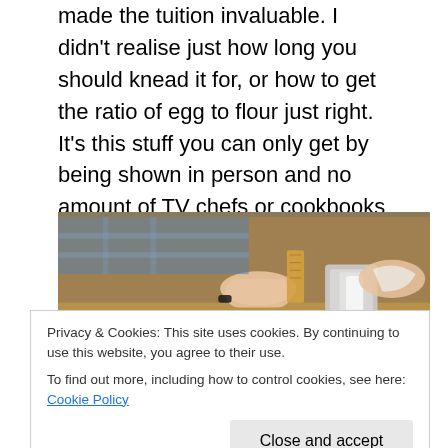made the tuition invaluable. I didn't realise just how long you should knead it for, or how to get the ratio of egg to flour just right. It's this stuff you can only get by being shown in person and no amount of TV chefs or cookbooks can help you here. A few days after the course I made some more tagliatelle at home and it was so much better after the tuition.
[Figure (photo): Close-up photo of hands preparing food on a wooden surface, with fresh herbs in a tray and a blender in the background.]
Privacy & Cookies: This site uses cookies. By continuing to use this website, you agree to their use. To find out more, including how to control cookies, see here: Cookie Policy
We made the tagliatelle and served it with a lightning